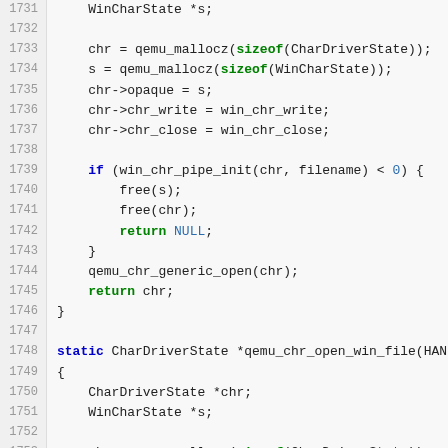[Figure (screenshot): Source code listing showing C code lines 1731-1756, with line numbers on the left and syntax-highlighted code on the right. Keywords like 'sizeof', 'if', 'return', 'static', 'NULL' are highlighted in green/blue.]